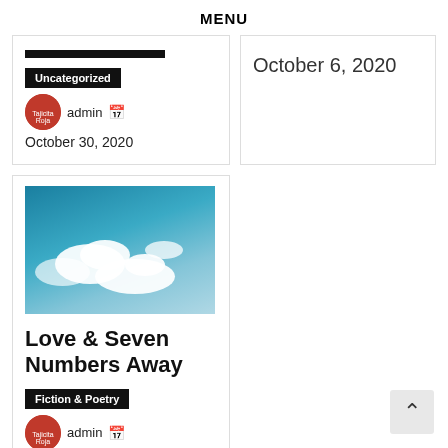MENU
Uncategorized
admin
October 30, 2020
October 6, 2020
[Figure (photo): Sky with white clouds on blue background]
Love & Seven Numbers Away
Fiction & Poetry
admin